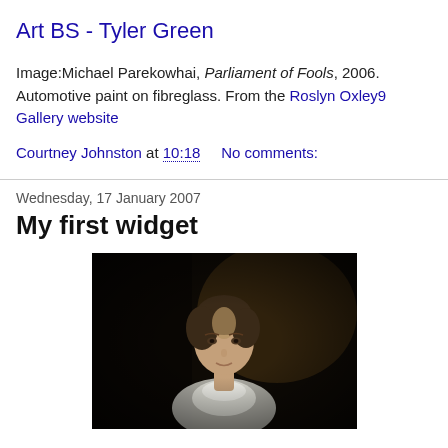Art BS - Tyler Green
Image:Michael Parekowhai, Parliament of Fools, 2006. Automotive paint on fibreglass. From the Roslyn Oxley9 Gallery website
Courtney Johnston at 10:18   No comments:
Wednesday, 17 January 2007
My first widget
[Figure (photo): Dark portrait painting of a young girl with blonde hair wearing a white collar, in a classical Old Master style, against a dark background.]